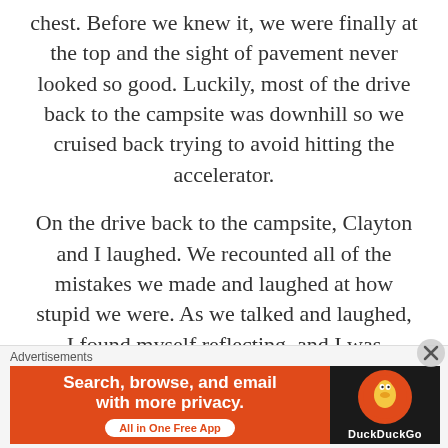chest. Before we knew it, we were finally at the top and the sight of pavement never looked so good. Luckily, most of the drive back to the campsite was downhill so we cruised back trying to avoid hitting the accelerator.
On the drive back to the campsite, Clayton and I laughed. We recounted all of the mistakes we made and laughed at how stupid we were. As we talked and laughed, I found myself reflecting, and I was humbled. That student loan and the overall thought of money didn't matter
Advertisements
[Figure (other): DuckDuckGo advertisement banner: orange left panel with text 'Search, browse, and email with more privacy. All in One Free App' and dark right panel with DuckDuckGo logo and name.]